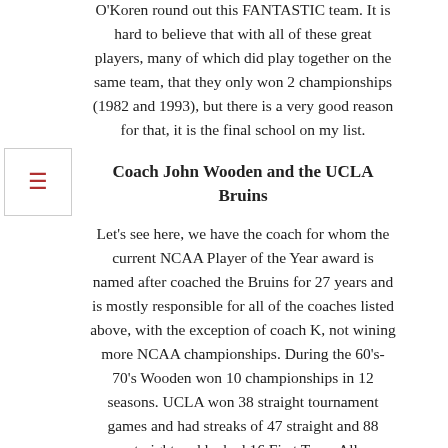O'Koren round out this FANTASTIC team. It is hard to believe that with all of these great players, many of which did play together on the same team, that they only won 2 championships (1982 and 1993), but there is a very good reason for that, it is the final school on my list.
Coach John Wooden and the UCLA Bruins
Let's see here, we have the coach for whom the current NCAA Player of the Year award is named after coached the Bruins for 27 years and is mostly responsible for all of the coaches listed above, with the exception of coach K, not wining more NCAA championships. During the 60's-70's Wooden won 10 championships in 12 seasons. UCLA won 38 straight tournament games and had streaks of 47 straight and 88 straight and he had 16 First Team All